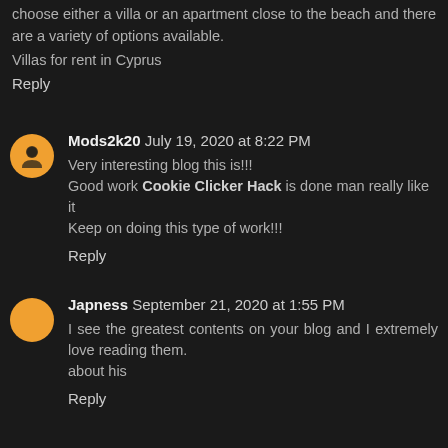choose either a villa or an apartment close to the beach and there are a variety of options available. Villas for rent in Cyprus
Reply
Mods2k20  July 19, 2020 at 8:22 PM
Very interesting blog this is!!!
Good work Cookie Clicker Hack is done man really like it
Keep on doing this type of work!!!
Reply
Japness  September 21, 2020 at 1:55 PM
I see the greatest contents on your blog and I extremely love reading them.
about his
Reply